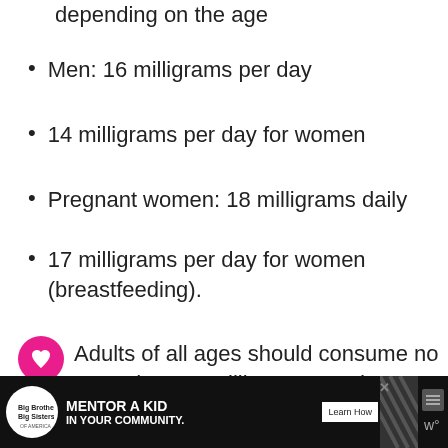depending on the age
Men: 16 milligrams per day
14 milligrams per day for women
Pregnant women: 18 milligrams daily
17 milligrams per day for women (breastfeeding).
Adults of all ages should consume no more than 35 milligrams per day.
[Figure (infographic): Pink heart icon (save/like button) and share icon (white circle with share symbol)]
[Figure (infographic): WHAT'S NEXT arrow link: Lotus Energy Drink Revie... with circular thumbnail image]
[Figure (infographic): Advertisement banner: Big Brothers Big Sisters - MENTOR A KID IN YOUR COMMUNITY. Learn How button]